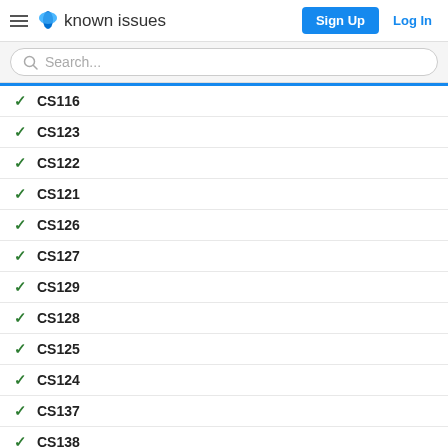known issues | Sign Up | Log In
Search...
CS116
CS123
CS122
CS121
CS126
CS127
CS129
CS128
CS125
CS124
CS137
CS138
CS133
CS132
CS14
CS148